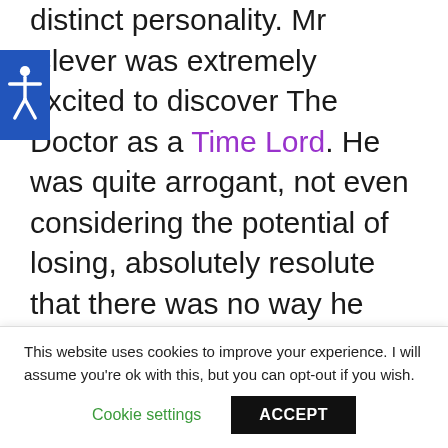distinct personality. Mr Clever was extremely excited to discover The Doctor as a Time Lord. He was quite arrogant, not even considering the potential of losing, absolutely resolute that there was no way he could lose. He was ruthless and lacked any sense of honour, intending to go back on his agreement with The Doctor and kill everyone anyway.
This website uses cookies to improve your experience. I will assume you're ok with this, but you can opt-out if you wish.
Cookie settings | ACCEPT